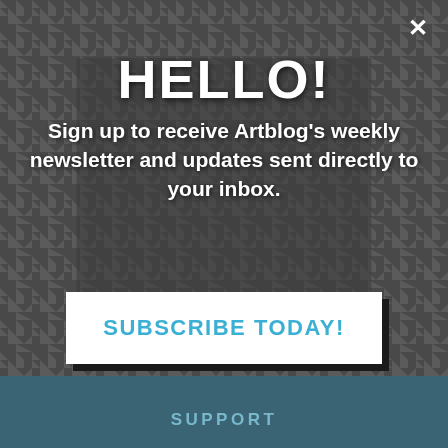[Figure (screenshot): Dark houndstooth patterned background with a dimmed collage of magazine/newsletter covers in the center-upper area. Bottom has a teal-blue strip.]
HELLO!
Sign up to receive Artblog's weekly newsletter and updates sent directly to your inbox.
SUBSCRIBE TODAY!
SUPPORT